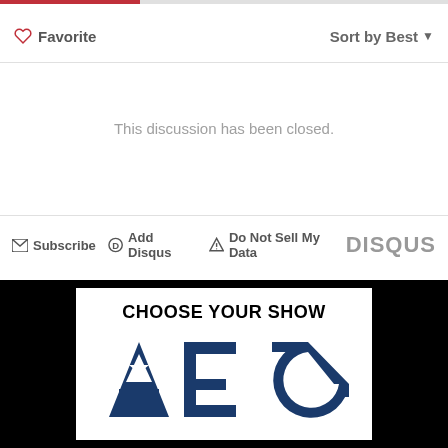Favorite
Sort by Best
This discussion has been closed.
Subscribe  Add Disqus  Do Not Sell My Data  DISQUS
[Figure (advertisement): AEG 'Choose Your Show' advertisement banner with large dark blue letters A, E, G with a star on the A, on a white card over a black background]